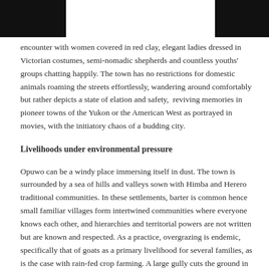encounter with women covered in red clay, elegant ladies dressed in Victorian costumes, semi-nomadic shepherds and countless youths' groups chatting happily. The town has no restrictions for domestic animals roaming the streets effortlessly, wandering around comfortably but rather depicts a state of elation and safety,  reviving memories in pioneer towns of the Yukon or the American West as portrayed in movies, with the initiatory chaos of a budding city.
Livelihoods under environmental pressure
Opuwo can be a windy place immersing itself in dust. The town is surrounded by a sea of hills and valleys sown with Himba and Herero traditional communities. In these settlements, barter is common hence small familiar villages form intertwined communities where everyone knows each other, and hierarchies and territorial powers are not written but are known and respected. As a practice, overgrazing is endemic, specifically that of goats as a primary livelihood for several families, as is the case with rain-fed crop farming. A large gully cuts the ground in one of the valleys extending to the south from Opuwo, creating a unique landscape. The water runoff causing erosion during intense rainy seasons, ripping the soil while conveying a substantial amount of